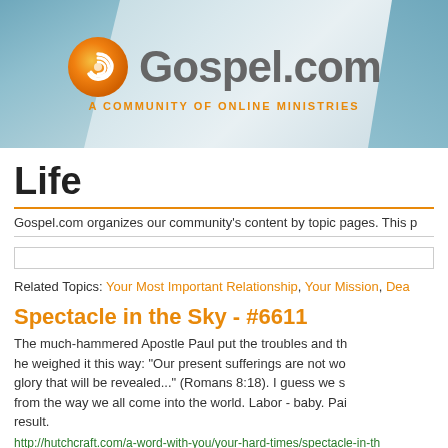[Figure (logo): Gospel.com logo with orange swirl icon and tagline 'A COMMUNITY OF ONLINE MINISTRIES' on a blue-gray banner background]
Life
Gospel.com organizes our community's content by topic pages. This p
Related Topics: Your Most Important Relationship, Your Mission, Dea
Spectacle in the Sky - #6611
The much-hammered Apostle Paul put the troubles and th he weighed it this way: "Our present sufferings are not wo glory that will be revealed..." (Romans 8:18). I guess we s from the way we all come into the world. Labor - baby. Pai result.
http://hutchcraft.com/a-word-with-you/your-hard-times/spectacle-in-th
Another Eternity Moment - #6607
The next article text begins here...